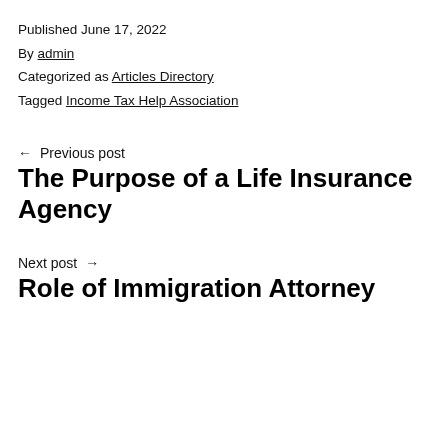Published June 17, 2022
By admin
Categorized as Articles Directory
Tagged Income Tax Help Association
← Previous post
The Purpose of a Life Insurance Agency
Next post →
Role of Immigration Attorney